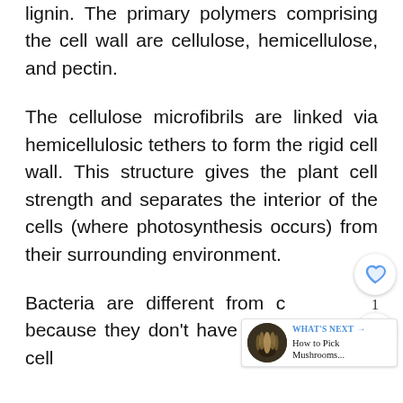lignin. The primary polymers comprising the cell wall are cellulose, hemicellulose, and pectin.
The cellulose microfibrils are linked via hemicellulosic tethers to form the rigid cell wall. This structure gives the plant cell strength and separates the interior of the cells (where photosynthesis occurs) from their surrounding environment.
Bacteria are different from c... because they don't have a cell wall. The cell